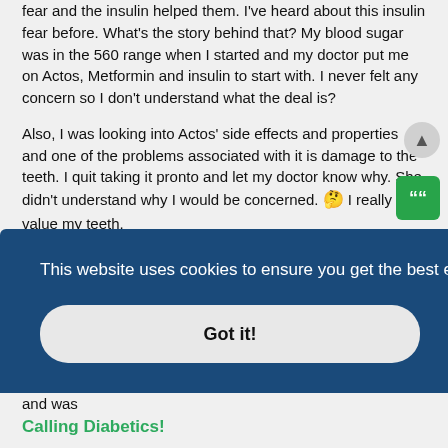fear and the insulin helped them. I've heard about this insulin fear before. What's the story behind that? My blood sugar was in the 560 range when I started and my doctor put me on Actos, Metformin and insulin to start with. I never felt any concern so I don't understand what the deal is?
Also, I was looking into Actos' side effects and properties and one of the problems associated with it is damage to the teeth. I quit taking it pronto and let my doctor know why. She didn't understand why I would be concerned. 🤔 I really value my teeth.
She also put me on 5 mg of Lisinopril which is a blood pressure medication. She felt my pressure was too high and she also wanted me on it because she said this drug has the side benefit of protecting diabetic kidneys from damage. Anyone else using this?
I haven't been as I was taking 7 different drugs at one time and was
[Figure (screenshot): Cookie consent banner with dark blue background. Text: 'This website uses cookies to ensure you get the best experience on our website. Learn more' with a 'Got it!' button below.]
Calling Diabetics!